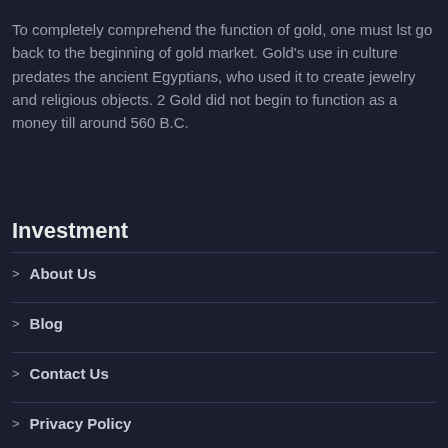To completely comprehend the function of gold, one must lst go back to the beginning of gold market. Gold's use in culture predates the ancient Egyptians, who used it to create jewelry and religious objects. 2 Gold did not begin to function as a money till around 560 B.C.
Investment
> About Us
> Blog
> Contact Us
> Privacy Policy